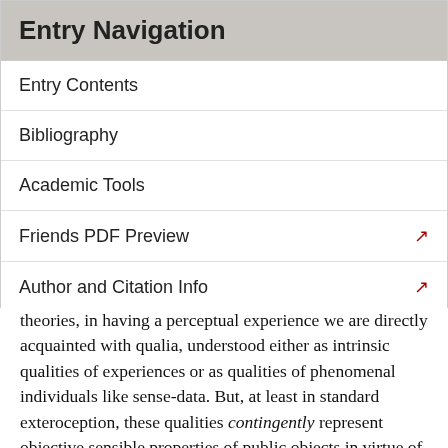Entry Navigation
Entry Contents
Bibliography
Academic Tools
Friends PDF Preview
Author and Citation Info
theories, in having a perceptual experience we are directly acquainted with qualia, understood either as intrinsic qualities of experiences or as qualities of phenomenal individuals like sense-data. But, at least in standard exteroception, these qualities contingently represent objective sensible properties of public objects in virtue of either resembling them or by being regularly caused by their instantiations — or both. In other words, on an indirect realist approach, they are distinct existences: qualia or sense-data come to represent public objects and their sensible properties in virtue of some contingent